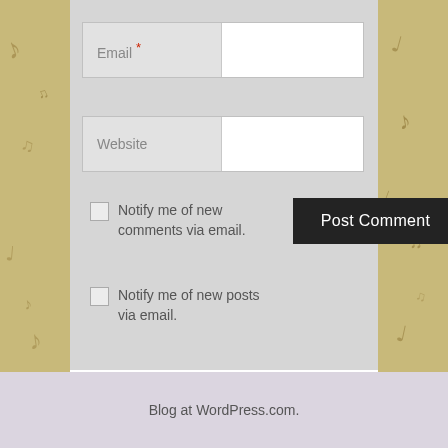[Figure (screenshot): WordPress comment form with Email and Website input fields, two notification checkboxes, a Post Comment button, and a footer bar with Blog at WordPress.com text. Background has a vintage music notes pattern.]
Email *
Website
Notify me of new comments via email.
Notify me of new posts via email.
Post Comment
Blog at WordPress.com.